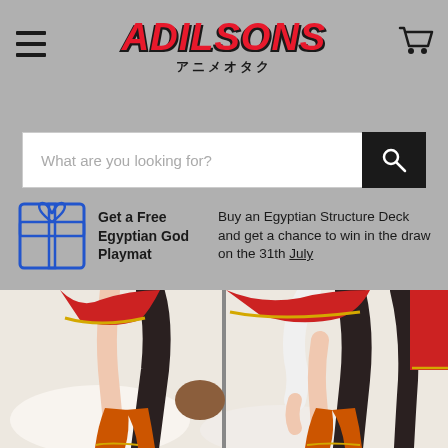ADILSONS アニメオタク
What are you looking for?
Get a Free Egyptian God Playmat — Buy an Egyptian Structure Deck and get a chance to win in the draw on the 31th July
[Figure (illustration): Two anime character illustrations side by side showing lower body/legs of a character in red and black outfit with orange boots, lying on white fabric background]